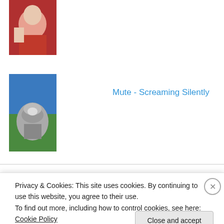[Figure (photo): Thumbnail image at top left showing a person in red]
[Figure (photo): Thumbnail image of a wolf or dog painting with blue background]
Mute - Screaming Silently
Talking About…
Whisky Lady –… on Travel tales… How I got…
Hack Lady on Travel tales… How I got…
Privacy & Cookies: This site uses cookies. By continuing to use this website, you agree to their use.
To find out more, including how to control cookies, see here: Cookie Policy
Close and accept